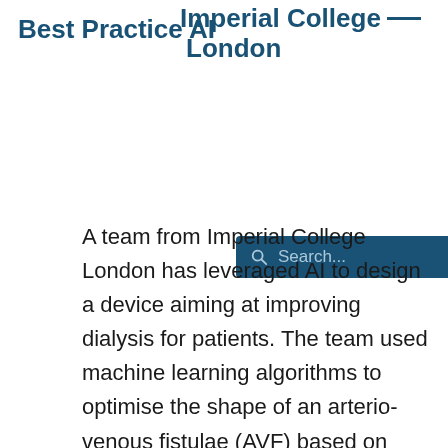Best Practice AI | Imperial College London
[Figure (screenshot): Search bar with blue background and magnifying glass icon, placeholder text 'Search...']
A team from Imperial College London has leveraged AI to design a device aiming at improving dialysis for patients. The team used machine learning algorithms to optimise the shape of an arterio-venous fistulae (AVF) based on computer modelling techniques from the aerospace industry. The project stems from the similarity between how unsteady currents in blood flows in veins during dialysis and how unsteady air pockets